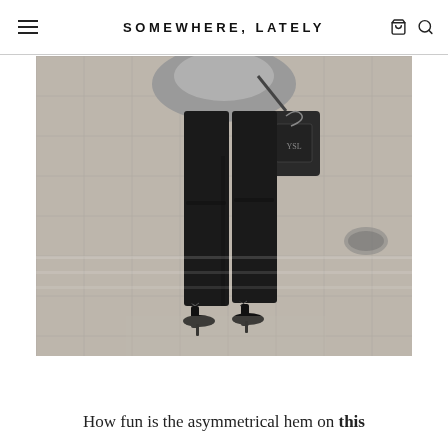SOMEWHERE, LATELY
[Figure (photo): Fashion blog photo showing a woman from the waist down wearing black skinny jeans with asymmetrical hem slits, black stiletto heels, holding a dark chain-strap handbag, standing on a city sidewalk with a wet pavement background]
How fun is the asymmetrical hem on this